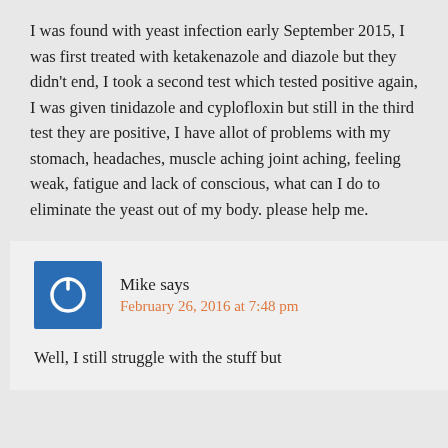I was found with yeast infection early September 2015, I was first treated with ketakenazole and diazole but they didn't end, I took a second test which tested positive again, I was given tinidazole and cyplofloxin but still in the third test they are positive, I have allot of problems with my stomach, headaches, muscle aching joint aching, feeling weak, fatigue and lack of conscious, what can I do to eliminate the yeast out of my body. please help me.
Mike says
February 26, 2016 at 7:48 pm
Well, I still struggle with the stuff but